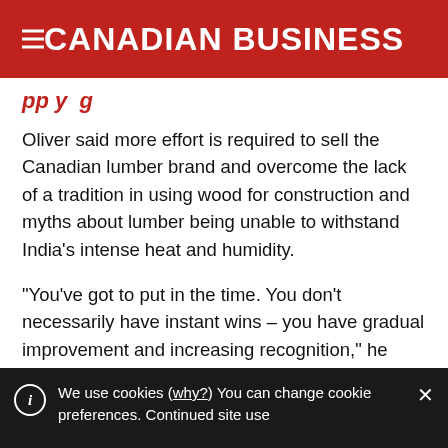CANADIAN BUSINESS
pp y g
Oliver said more effort is required to sell the Canadian lumber brand and overcome the lack of a tradition in using wood for construction and myths about lumber being unable to withstand India’s intense heat and humidity.
“You’ve got to put in the time. You don’t necessarily have instant wins – you have gradual improvement and increasing recognition,” he said.
We use cookies (why?) You can change cookie preferences. Continued site use